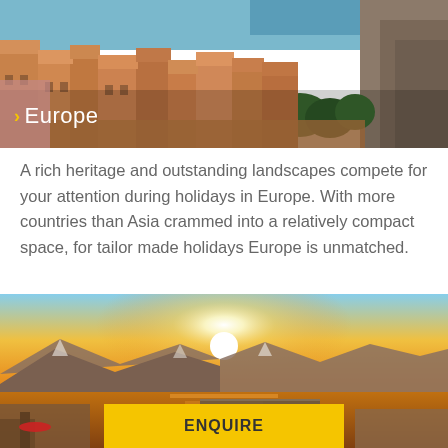[Figure (photo): Aerial view of a European coastal city with terracotta rooftops, rocky cliffs, and blue sea in the background]
Europe
A rich heritage and outstanding landscapes compete for your attention during holidays in Europe. With more countries than Asia crammed into a relatively compact space, for tailor made holidays Europe is unmatched.
[Figure (photo): Aerial sunset view of a coastal Mediterranean town with golden sky, mountains, and a causeway/bridge visible]
ENQUIRE